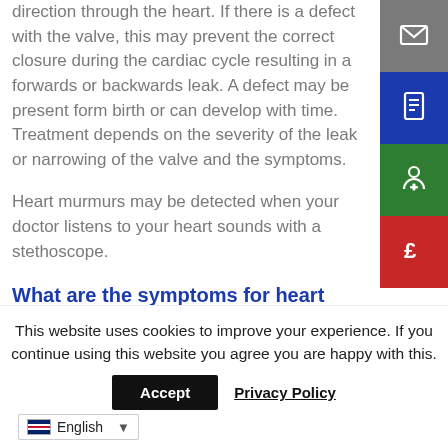direction through the heart. If there is a defect with the valve, this may prevent the correct closure during the cardiac cycle resulting in a forwards or backwards leak. A defect may be present form birth or can develop with time. Treatment depends on the severity of the leak or narrowing of the valve and the symptoms.
Heart murmurs may be detected when your doctor listens to your heart sounds with a stethoscope.
What are the symptoms for heart
This website uses cookies to improve your experience. If you continue using this website you agree you are happy with this.